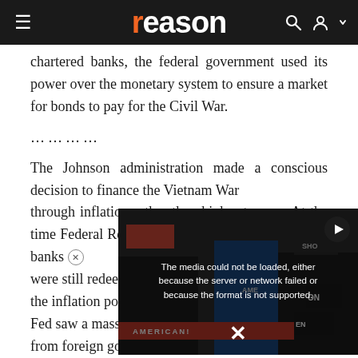reason
chartered banks, the federal government used its power over the monetary system to ensure a market for bonds to pay for the Civil War.
…………
The Johnson administration made a conscious decision to finance the Vietnam War through inflation rather than higher taxes….At the time Federal Reserve Notes held by foreign central banks were still red[eemable in gold. To cover] the inflation [policy, the] Fed saw a m[assive drain] from foreign [governments'] gold holdings[, which led] Nixon to clos[e the gold w]indow—the last remainin[g link. With] excess supplies of money no longer generating any
[Figure (screenshot): Video player overlay showing error message: The media could not be loaded, either because the server or network failed or because the format is not supported. Background shows protest scene with red banner reading AMERICAN. Close button (x) and play button visible.]